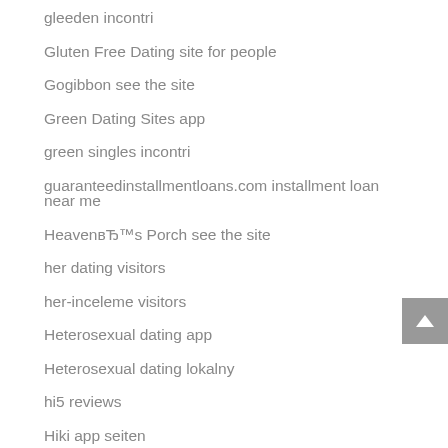gleeden incontri
Gluten Free Dating site for people
Gogibbon see the site
Green Dating Sites app
green singles incontri
guaranteedinstallmentloans.com installment loan near me
HeavenвЂ™s Porch see the site
her dating visitors
her-inceleme visitors
Heterosexual dating app
Heterosexual dating lokalny
hi5 reviews
Hiki app seiten
Hiki visitors